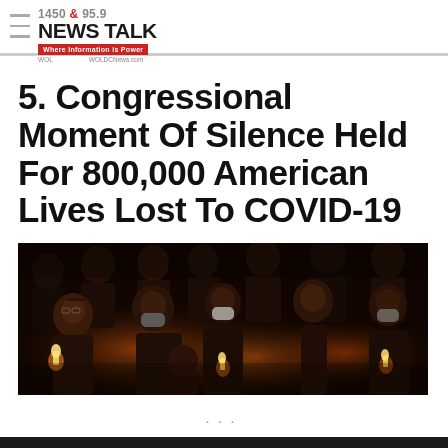1450 & 95.9 NEWS TALK — Where Information is Power — WOL — WOLDCNews.com
5. Congressional Moment Of Silence Held For 800,000 American Lives Lost To COVID-19
[Figure (photo): Group of people in formal attire wearing masks, holding candles in a dimly lit setting during a congressional moment of silence.]